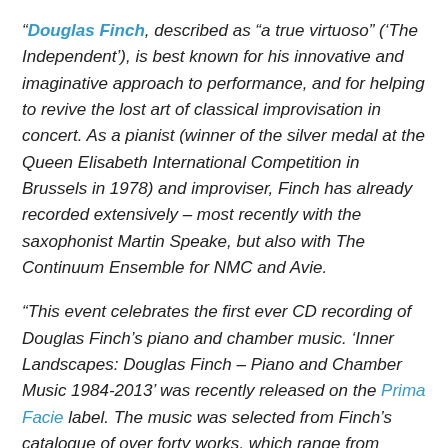“Douglas Finch, described as “a true virtuoso” (‘The Independent’), is best known for his innovative and imaginative approach to performance, and for helping to revive the lost art of classical improvisation in concert. As a pianist (winner of the silver medal at the Queen Elisabeth International Competition in Brussels in 1978) and improviser, Finch has already recorded extensively – most recently with the saxophonist Martin Speake, but also with The Continuum Ensemble for NMC and Avie.
“This event celebrates the first ever CD recording of Douglas Finch’s piano and chamber music. ‘Inner Landscapes: Douglas Finch – Piano and Chamber Music 1984-2013’ was recently released on the Prima Facie label. The music was selected from Finch’s catalogue of over forty works, which range from piano, chamber